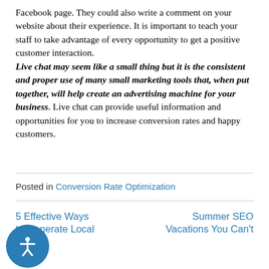Facebook page. They could also write a comment on your website about their experience. It is important to teach your staff to take advantage of every opportunity to get a positive customer interaction. Live chat may seem like a small thing but it is the consistent and proper use of many small marketing tools that, when put together, will help create an advertising machine for your business. Live chat can provide useful information and opportunities for you to increase conversion rates and happy customers.
Posted in Conversion Rate Optimization
5 Effective Ways to Generate Local
Summer SEO Vacations You Can't